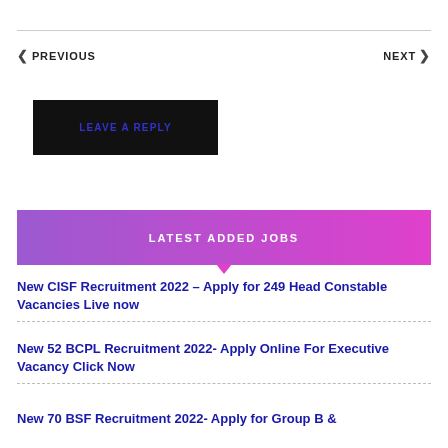PREVIOUS   NEXT
LEAVE A REPLY
LATEST ADDED JOBS
New CISF Recruitment 2022 – Apply for 249 Head Constable Vacancies Live now
New 52 BCPL Recruitment 2022- Apply Online For Executive Vacancy Click Now
New 70 BSF Recruitment 2022- Apply for Group B &